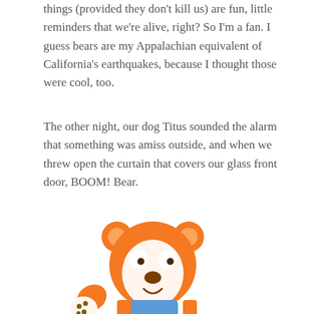things (provided they don't kill us) are fun, little reminders that we're alive, right? So I'm a fan. I guess bears are my Appalachian equivalent of California's earthquakes, because I thought those were cool, too.
The other night, our dog Titus sounded the alarm that something was amiss outside, and when we threw open the curtain that covers our glass front door, BOOM! Bear.
[Figure (illustration): Cartoon orange bear character waving one paw, with white face, brown nose, and blue overalls/bib, rendered in a cute clip-art style.]